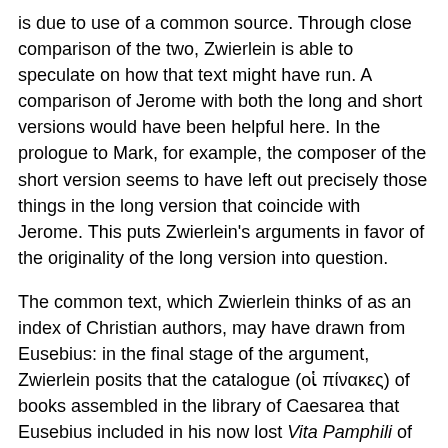is due to use of a common source. Through close comparison of the two, Zwierlein is able to speculate on how that text might have run. A comparison of Jerome with both the long and short versions would have been helpful here. In the prologue to Mark, for example, the composer of the short version seems to have left out precisely those things in the long version that coincide with Jerome. This puts Zwierlein's arguments in favor of the originality of the long version into question.
The common text, which Zwierlein thinks of as an index of Christian authors, may have drawn from Eusebius: in the final stage of the argument, Zwierlein posits that the catalogue (οἱ πίνακες) of books assembled in the library of Caesarea that Eusebius included in his now lost Vita Pamphili of ca. 315-320 (Hist. eccl. 6.32.3) is the ultimate source of the author catalogue used by Jerome and the prologue writer. Callimachus' Pinakes of the library of Alexandria in 120 books must have contained not simply lists of authors and their works, but also biographical data as well as information on sources, time of publication, authenticity, and so on. Similarly, Eusebius' Pinakes may have contained